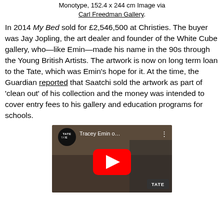Monotype, 152.4 x 244 cm Image via Carl Freedman Gallery.
In 2014 My Bed sold for £2,546,500 at Christies. The buyer was Jay Jopling, the art dealer and founder of the White Cube gallery, who—like Emin—made his name in the 90s through the Young British Artists. The artwork is now on long term loan to the Tate, which was Emin's hope for it. At the time, the Guardian reported that Saatchi sold the artwork as part of 'clean out' of his collection and the money was intended to cover entry fees to his gallery and education programs for schools.
[Figure (screenshot): YouTube video thumbnail showing Tracey Emin with Tate branding, titled 'Tracey Emin o...' with a red YouTube play button overlay.]